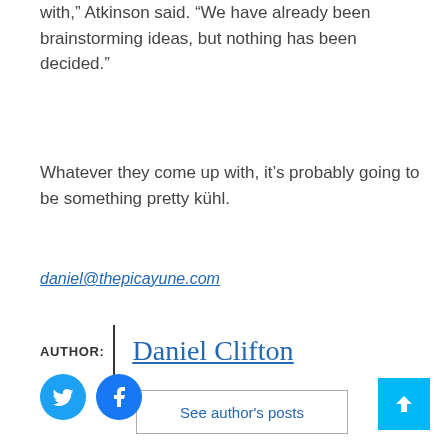with,” Atkinson said. “We have already been brainstorming ideas, but nothing has been decided.”
Whatever they come up with, it’s probably going to be something pretty kühl.
daniel@thepicayune.com
AUTHOR: Daniel Clifton
See author’s posts